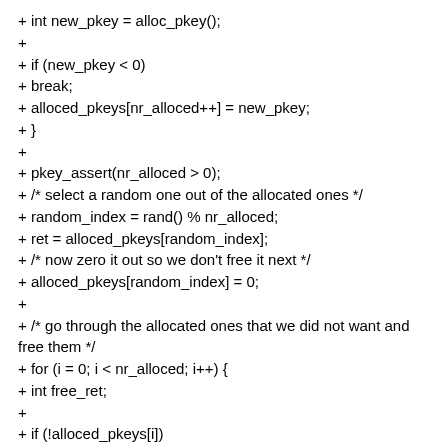+ int new_pkey = alloc_pkey();
+
+ if (new_pkey < 0)
+ break;
+ alloced_pkeys[nr_alloced++] = new_pkey;
+ }
+
+ pkey_assert(nr_alloced > 0);
+ /* select a random one out of the allocated ones */
+ random_index = rand() % nr_alloced;
+ ret = alloced_pkeys[random_index];
+ /* now zero it out so we don't free it next */
+ alloced_pkeys[random_index] = 0;
+
+ /* go through the allocated ones that we did not want and free them */
+ for (i = 0; i < nr_alloced; i++) {
+ int free_ret;
+
+ if (!alloced_pkeys[i])
+ continue;
+ free_ret = sys_pkey_free(alloced_pkeys[i]);
+ pkey_assert(!free_ret);
+ }
+ dprintf1("%s()::%d, ret: %d pkey_reg: 0x%x shadow: 0x%x\n",